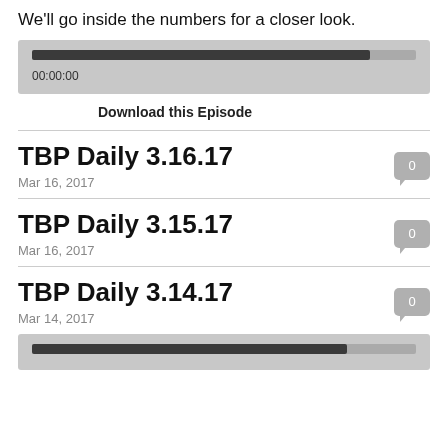We'll go inside the numbers for a closer look.
[Figure (screenshot): Audio player widget with dark progress bar and timestamp 00:00:00]
Download this Episode
TBP Daily 3.16.17
Mar 16, 2017
TBP Daily 3.15.17
Mar 16, 2017
TBP Daily 3.14.17
Mar 14, 2017
[Figure (screenshot): Audio player widget with dark progress bar at bottom of page]